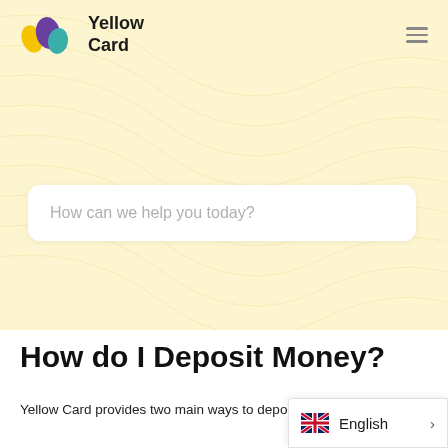[Figure (logo): Yellow Card logo with leaf and card icon in yellow, purple, and teal, with text 'Yellow Card']
How can we help you today?
How do I Deposit Money?
Yellow Card provides two main ways to deposit money. The first is through First Money and the...
[Figure (other): UK flag icon with English language label and right arrow for language switcher]